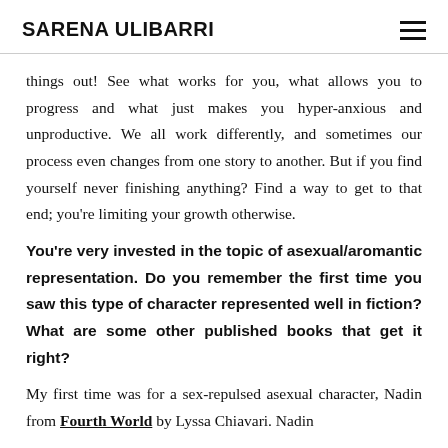SARENA ULIBARRI
things out! See what works for you, what allows you to progress and what just makes you hyper-anxious and unproductive. We all work differently, and sometimes our process even changes from one story to another. But if you find yourself never finishing anything? Find a way to get to that end; you're limiting your growth otherwise.
You're very invested in the topic of asexual/aromantic representation. Do you remember the first time you saw this type of character represented well in fiction? What are some other published books that get it right?
My first time was for a sex-repulsed asexual character, Nadin from Fourth World by Lyssa Chiavari. Nadin